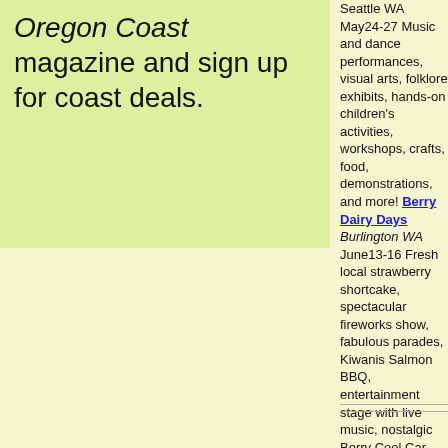Oregon Coast magazine and sign up for coast deals.
Seattle WA May24-27 Music and dance performances, visual arts, folklore exhibits, hands-on children's activities, workshops, crafts, food, demonstrations, and more! Berry Dairy Days Burlington WA June13-16 Fresh local strawberry shortcake, spectacular fireworks show, fabulous parades, Kiwanis Salmon BBQ, entertainment stage with live music, nostalgic Berry Cool Car Show.